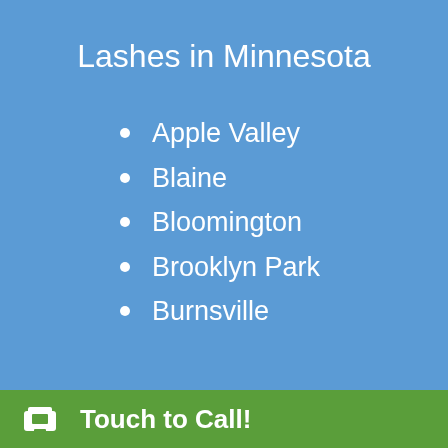Lashes in Minnesota
Apple Valley
Blaine
Bloomington
Brooklyn Park
Burnsville
Coon Rapids
Touch to Call!